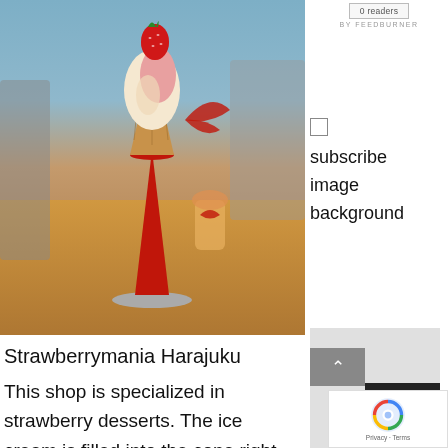[Figure (photo): A strawberry soft-serve ice cream cone in a decorative red cone holder on a wooden table, with a strawberry on top and swirled pink and white ice cream. Background shows chairs and a small decorative item.]
Strawberrymania Harajuku
This shop is specialized in strawberry desserts. The ice cream is filled into the cone right
0 readers
BY FEEDBURNER
subscribe
image
background